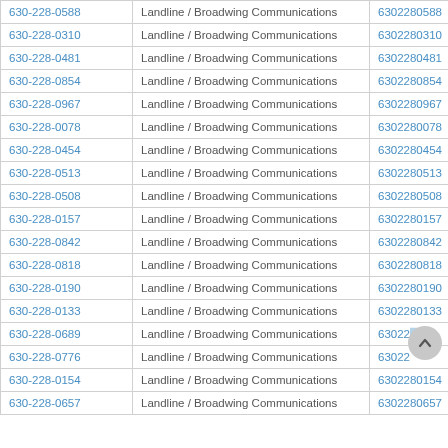| 630-228-0588 | Landline / Broadwing Communications | 6302280588 |
| 630-228-0310 | Landline / Broadwing Communications | 6302280310 |
| 630-228-0481 | Landline / Broadwing Communications | 6302280481 |
| 630-228-0854 | Landline / Broadwing Communications | 6302280854 |
| 630-228-0967 | Landline / Broadwing Communications | 6302280967 |
| 630-228-0078 | Landline / Broadwing Communications | 6302280078 |
| 630-228-0454 | Landline / Broadwing Communications | 6302280454 |
| 630-228-0513 | Landline / Broadwing Communications | 6302280513 |
| 630-228-0508 | Landline / Broadwing Communications | 6302280508 |
| 630-228-0157 | Landline / Broadwing Communications | 6302280157 |
| 630-228-0842 | Landline / Broadwing Communications | 6302280842 |
| 630-228-0818 | Landline / Broadwing Communications | 6302280818 |
| 630-228-0190 | Landline / Broadwing Communications | 6302280190 |
| 630-228-0133 | Landline / Broadwing Communications | 6302280133 |
| 630-228-0689 | Landline / Broadwing Communications | 63022... |
| 630-228-0776 | Landline / Broadwing Communications | 63022... |
| 630-228-0154 | Landline / Broadwing Communications | 6302280154 |
| 630-228-0657 | Landline / Broadwing Communications | 6302280657 |